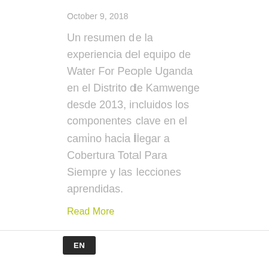October 9, 2018
Un resumen de la experiencia del equipo de Water For People Uganda en el Distrito de Kamwenge desde 2013, incluidos los componentes clave en el camino hacia llegar a Cobertura Total Para Siempre y las lecciones aprendidas.
Read More
Modelo de Trabajo en Guatemala
r 5, 2018
EN